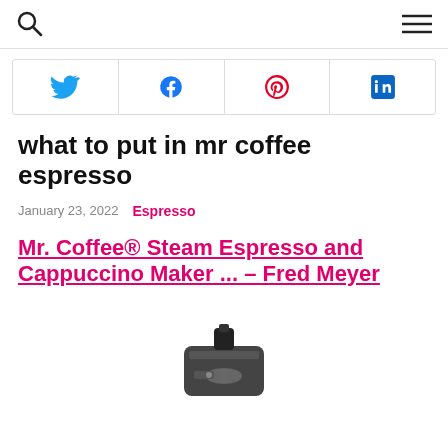[Search icon] [Menu icon]
[Figure (infographic): Social share bar with Twitter, Facebook, Pinterest, and LinkedIn icons in a row]
what to put in mr coffee espresso
January 23, 2022   Espresso
Mr. Coffee® Steam Espresso and Cappuccino Maker ... – Fred Meyer
[Figure (photo): Partial image of a Mr. Coffee espresso machine from top view]